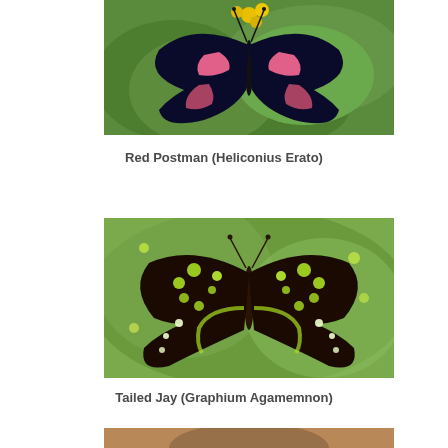[Figure (photo): Red Postman butterfly (Heliconius Erato) with black wings and pink/red markings, perched on yellow flowers with green leaves background]
Red Postman (Heliconius Erato)
[Figure (photo): Tailed Jay butterfly (Graphium Agamemnon) with black wings and green/yellow spots and dots, wings spread open on green leaf]
Tailed Jay (Graphium Agamemnon)
[Figure (photo): Partial view of a third butterfly photo, cut off at bottom of page]